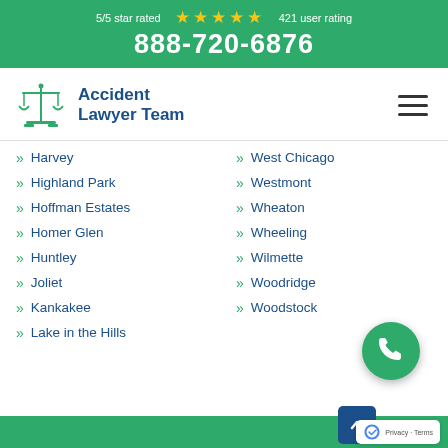5/5 star rated ★★★★★ 421 user rating 888-720-6876
[Figure (logo): Accident Lawyer Team logo with scales of justice icon and blue text]
Harvey
West Chicago
Highland Park
Westmont
Hoffman Estates
Wheaton
Homer Glen
Wheeling
Huntley
Wilmette
Joliet
Woodridge
Kankakee
Woodstock
Lake in the Hills